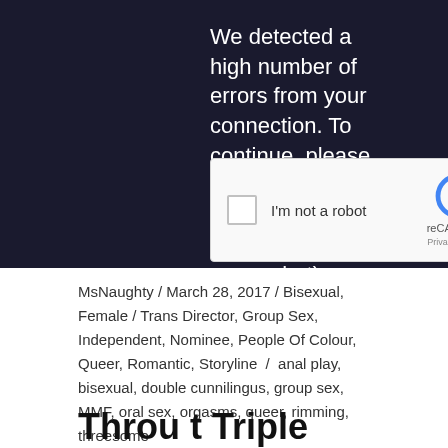We detected a high number of errors from your connection. To continue, please confirm that youâ€™re a human (and not a spambot).
[Figure (screenshot): reCAPTCHA widget with checkbox labeled I'm not a robot and reCAPTCHA branding logo on the right]
MsNaughty / March 28, 2017 / Bisexual, Female / Trans Director, Group Sex, Independent, Nominee, People Of Colour, Queer, Romantic, Storyline / anal play, bisexual, double cunnilingus, group sex, MMF, oral sex, orgasms, queer, rimming, threesome
Throu t Triple